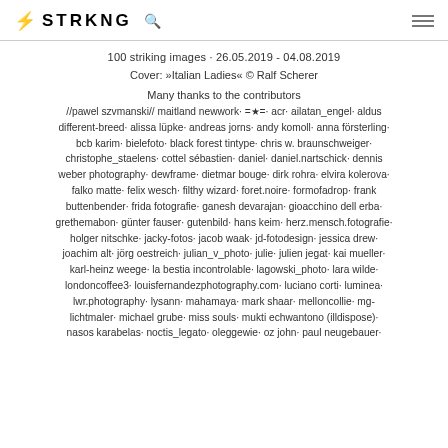⚡ STRKNG 🔍
100 striking images · 26.05.2019 - 04.08.2019
Cover: »Italian Ladies« © Ralf Scherer
Many thanks to the contributors
//pawel szvmanski// maitland newwork· =★=· acr· ailatan_engel· aldus different-breed· alissa lüpke· andreas jorns· andy komoll· anna försterling· bcb karim· bielefoto· black forest tintype· chris w. braunschweiger· christophe_staelens· cottel sébastien· daniel· daniel.nartschick· dennis weber photography· dewframe· dietmar bouge· dirk rohra· elvira kolerova· falko matte· felix wesch· filthy wizard· foret.noire· formofadrop· frank buttenbender· frida fotografie· ganesh devarajan· gioacchino dell erba· grethemabon· günter fauser· gutenbild· hans keim· herz.mensch.fotografie· holger nitschke· jacky-fotos· jacob waak· jd-fotodesign· jessica drew· joachim alt· jörg oestreich· julian_v_photo· julie· julien jegat· kai mueller· karl-heinz weege· la bestia incontrolable· lagowski_photo· lara wilde· londoncoffee3· louisfernandezphotography.com· luciano corti· luminea· lwr.photography· lysann· mahamaya· mark shaar· melloncollie· mg-lichtmaler· michael grube· miss souls· mukti echwantono (illdispose)· nasos karabelas· noctis_legato· oleggewie· oz john· paul neugebauer·